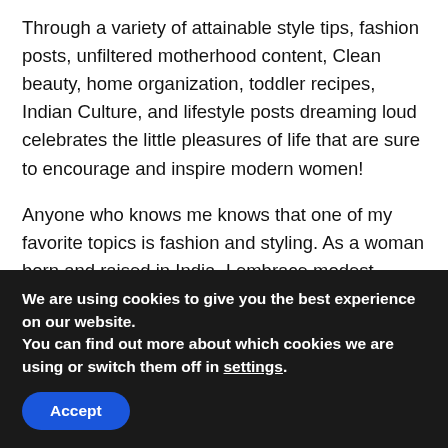Through a variety of attainable style tips, fashion posts, unfiltered motherhood content, Clean beauty, home organization, toddler recipes, Indian Culture, and lifestyle posts dreaming loud celebrates the little pleasures of life that are sure to encourage and inspire modern women!
Anyone who knows me knows that one of my favorite topics is fashion and styling. As a woman born and raised in India, I embrace modest fashions. Many people feel that modest women's fashion is boring and not stylish! I use my lifestyle blog to showcase modest fashion is fashion-forward and glamorous.
We are using cookies to give you the best experience on our website.
You can find out more about which cookies we are using or switch them off in settings.